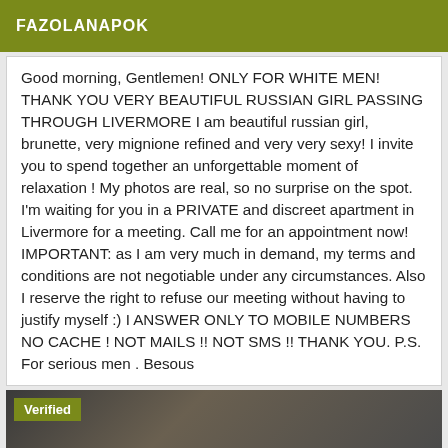FAZOLANAPOK
Good morning, Gentlemen! ONLY FOR WHITE MEN! THANK YOU VERY BEAUTIFUL RUSSIAN GIRL PASSING THROUGH LIVERMORE I am beautiful russian girl, brunette, very mignione refined and very very sexy! I invite you to spend together an unforgettable moment of relaxation ! My photos are real, so no surprise on the spot. I'm waiting for you in a PRIVATE and discreet apartment in Livermore for a meeting. Call me for an appointment now! IMPORTANT: as I am very much in demand, my terms and conditions are not negotiable under any circumstances. Also I reserve the right to refuse our meeting without having to justify myself :) I ANSWER ONLY TO MOBILE NUMBERS NO CACHE ! NOT MAILS !! NOT SMS !! THANK YOU. P.S. For serious men . Besous
[Figure (photo): Partial photo of a person with dark hair, with a 'Verified' badge overlay in olive/yellow-green color at top left]